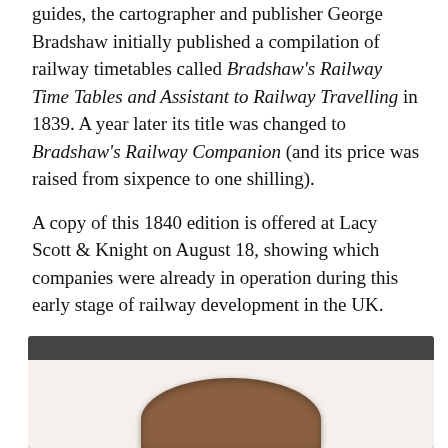guides, the cartographer and publisher George Bradshaw initially published a compilation of railway timetables called Bradshaw's Railway Time Tables and Assistant to Railway Travelling in 1839. A year later its title was changed to Bradshaw's Railway Companion (and its price was raised from sixpence to one shilling).
A copy of this 1840 edition is offered at Lacy Scott & Knight on August 18, showing which companies were already in operation during this early stage of railway development in the UK.
Estimate: £50-60.
View this lot on the-saleroom.com
Clifton Rocks railway token
[Figure (photo): Dark-bordered image box showing the top portion of a Clifton Rocks railway token (coin), brown/bronze colored with an octagonal or rounded shape, visible against a light background.]